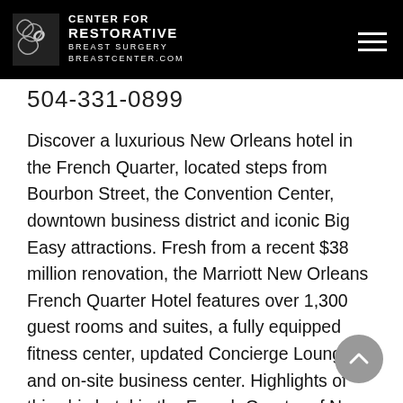CENTER FOR RESTORATIVE BREAST SURGERY BREASTCENTER.COM
504-331-0899
Discover a luxurious New Orleans hotel in the French Quarter, located steps from Bourbon Street, the Convention Center, downtown business district and iconic Big Easy attractions. Fresh from a recent $38 million renovation, the Marriott New Orleans French Quarter Hotel features over 1,300 guest rooms and suites, a fully equipped fitness center, updated Concierge Lounge and on-site business center. Highlights of this chic hotel in the French Quarter of New Orleans include a new lobby with stylish wine